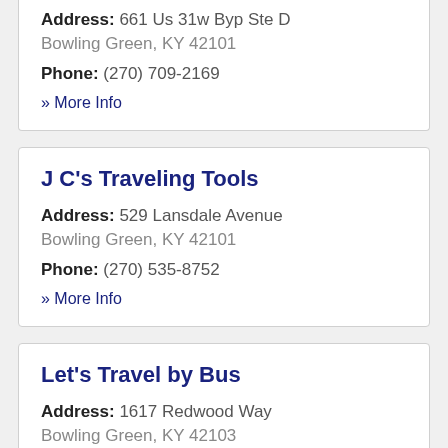Address: 661 Us 31w Byp Ste D Bowling Green, KY 42101
Phone: (270) 709-2169
» More Info
J C's Traveling Tools
Address: 529 Lansdale Avenue Bowling Green, KY 42101
Phone: (270) 535-8752
» More Info
Let's Travel by Bus
Address: 1617 Redwood Way Bowling Green, KY 42103